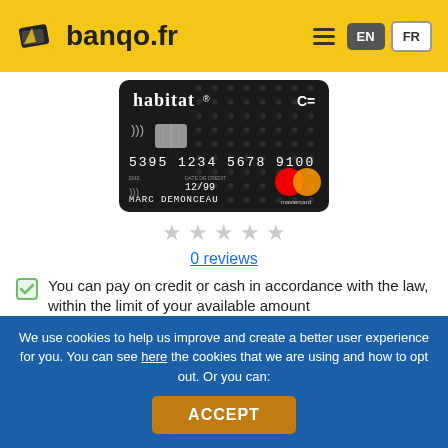banqo.fr
[Figure (photo): Habitat credit card (Mastercard) in black, with card number 5395 1234 5678 9100, expiry 12/99, cardholder name MARC DEMONCEAU]
[Figure (other): 5 empty star rating icons]
0 reviews
You can pay on credit or cash in accordance with the law, within the limit of your available amount
You benefit from the online delivery guarantee: the new good purchased on the Internet, with a value between € 50 and € 1,500 including VAT, will be
We use cookies to help us improve and create a better user experience for you. You can see here the cookies that we are using and how to opt out. Or you can:
ACCEPT